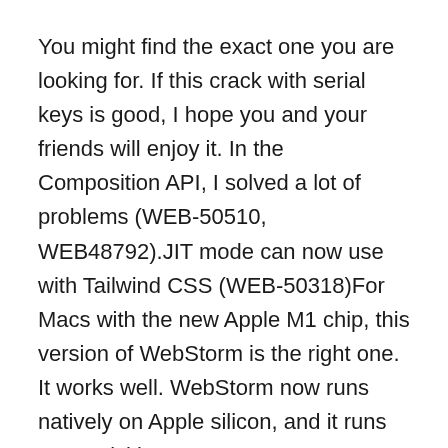You might find the exact one you are looking for. If this crack with serial keys is good, I hope you and your friends will enjoy it. In the Composition API, I solved a lot of problems (WEB-50510, WEB48792).JIT mode can now use with Tailwind CSS (WEB-50318)For Macs with the new Apple M1 chip, this version of WebStorm is the right one. It works well. WebStorm now runs natively on Apple silicon, and it runs very quickly.
In this case, which has support for Apple siliconPeople who play WSL 2 should now be able to use their Local History feature the way they want to. There were a lot of problems with Yarn 2 support fixed. Some more changes and improvements. Its